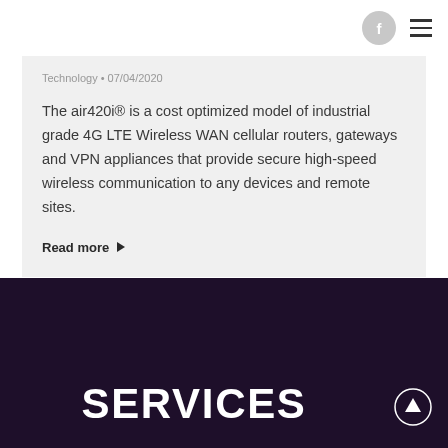f ≡
Technology • 07/04/2020
The air420i® is a cost optimized model of industrial grade 4G LTE Wireless WAN cellular routers, gateways and VPN appliances that provide secure high-speed wireless communication to any devices and remote sites.
Read more ▶
SERVICES